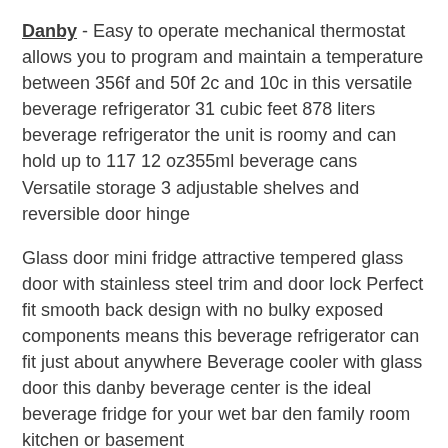Danby - Easy to operate mechanical thermostat allows you to program and maintain a temperature between 356f and 50f 2c and 10c in this versatile beverage refrigerator 31 cubic feet 878 liters beverage refrigerator the unit is roomy and can hold up to 117 12 oz355ml beverage cans Versatile storage 3 adjustable shelves and reversible door hinge
Glass door mini fridge attractive tempered glass door with stainless steel trim and door lock Perfect fit smooth back design with no bulky exposed components means this beverage refrigerator can fit just about anywhere Beverage cooler with glass door this danby beverage center is the ideal beverage fridge for your wet bar den family room kitchen or basement
Superior cooling system fan forced cooling maintains a consistent and even internal temperature throughout the cabinet Bright and modern illuminated interior with blue led lighting in this glassdoor beverage cooler